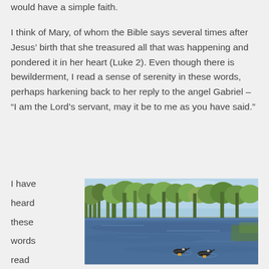would have a simple faith.
I think of Mary, of whom the Bible says several times after Jesus’ birth that she treasured all that was happening and pondered it in her heart (Luke 2). Even though there is bewilderment, I read a sense of serenity in these words, perhaps harkening back to her reply to the angel Gabriel – “I am the Lord’s servant, may it be to me as you have said.”
I have heard these words read many times
[Figure (photo): A scenic lake or river scene with geese swimming in the foreground, trees lining the far bank, and a blue sky above.]